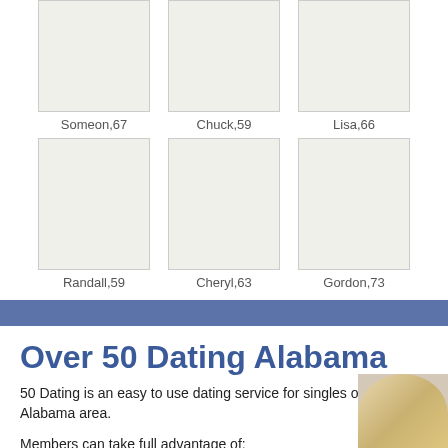[Figure (photo): Profile placeholder image for Someon, age 67]
Someon,67
[Figure (photo): Profile placeholder image for Chuck, age 59]
Chuck,59
[Figure (photo): Profile placeholder image for Lisa, age 66]
Lisa,66
[Figure (photo): Profile placeholder image for Randall, age 59]
Randall,59
[Figure (photo): Profile placeholder image for Cheryl, age 63]
Cheryl,63
[Figure (photo): Profile placeholder image for Gordon, age 73]
Gordon,73
Over 50 Dating Alabama
50 Dating is an easy to use dating service for singles over 50 in Alabama area.
Members can take full advantage of: